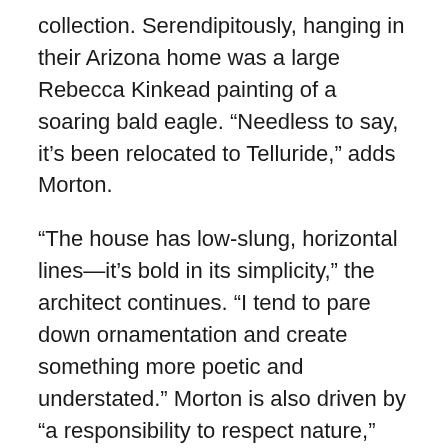collection. Serendipitously, hanging in their Arizona home was a large Rebecca Kinkead painting of a soaring bald eagle. “Needless to say, it’s been relocated to Telluride,” adds Morton.
“The house has low-slung, horizontal lines—it’s bold in its simplicity,” the architect continues. “I tend to pare down ornamentation and create something more poetic and understated.” Morton is also driven by “a responsibility to respect nature,” and wrapped the home in silvery-hued stone and cedar siding. Adding integrated planters around the structure offered additional thermal benefits, and tufted-grass plantings visually nestle the dwelling into the land. “It treads lightly, and it has a quiet strength,” he says. Because the clients wanted “an edited style,” Morton worked closely with Taylor to select exterior materials that could continue inside for a cohesive feel. “The result is a soft, warm materiality,” he notes.